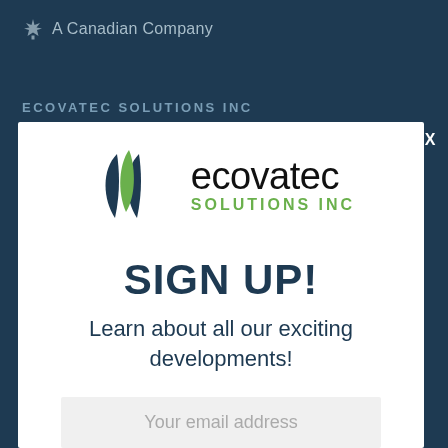[Figure (logo): Canadian maple leaf icon with 'A Canadian Company' text]
ECOVATEC SOLUTIONS INC
[Figure (logo): Ecovatec Solutions Inc logo with green and dark blue leaf icon and company name]
SIGN UP!
Learn about all our exciting developments!
Your email address